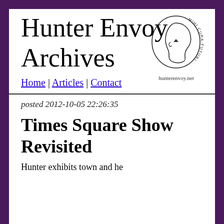Hunter Envoy Archives
[Figure (logo): Hunter Envoy logo: a head silhouette in profile with text 'MIHI-CURA-FUTURI' arranged in a circle around it, with a small triangle pointer. Below the logo reads 'hunterenvoy.net']
Home | Articles | Contact
posted 2012-10-05 22:26:35
Times Square Show Revisited
Hunter exhibits town and he